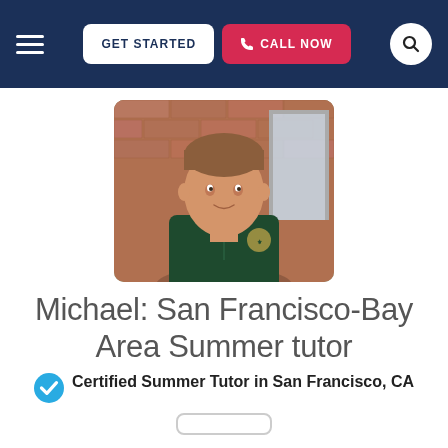GET STARTED  CALL NOW
[Figure (photo): Portrait photo of Michael, a man in a dark green polo shirt with an emblem, standing in front of a brick wall, smiling slightly.]
Michael: San Francisco-Bay Area Summer tutor
Certified Summer Tutor in San Francisco, CA